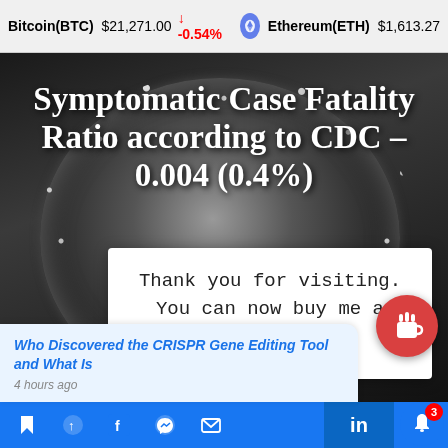Bitcoin(BTC) $21,271.00 ↓ -0.54%   Ethereum(ETH) $1,613.27
Symptomatic Case Fatality Ratio according to CDC – 0.004 (0.4%)
Home / Health / Symptomatic Case Fatality Ratio according
Thank you for visiting. You can now buy me a coffee!
[Figure (photo): Black and white electron microscope image of a coronavirus particle (SARS-CoV-2) with spike proteins visible on its surface]
Who Discovered the CRISPR Gene Editing Tool and What Is
4 hours ago